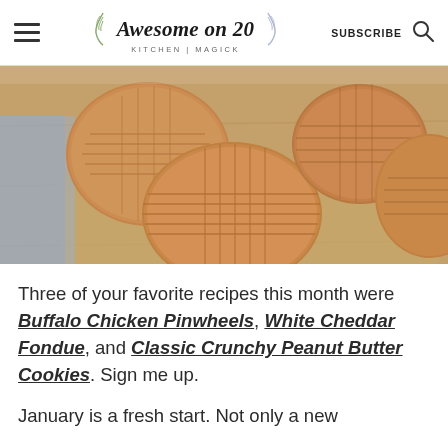Awesome on 20 KITCHEN | MAGICK  SUBSCRIBE
[Figure (photo): Close-up photo of classic crunchy peanut butter cookies with crosshatch fork marks on a wooden cutting board]
Three of your favorite recipes this month were Buffalo Chicken Pinwheels, White Cheddar Fondue, and Classic Crunchy Peanut Butter Cookies. Sign me up.
January is a fresh start. Not only a new